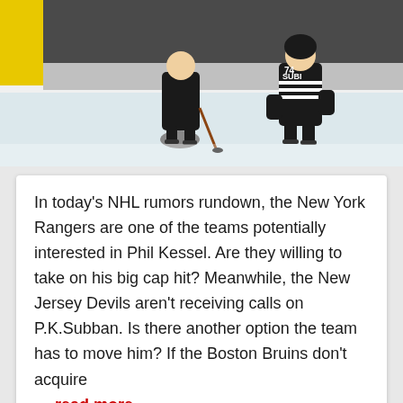[Figure (photo): NHL hockey players on ice rink, one wearing a jersey with 'SUBI 74' visible, action shot during a game]
In today's NHL rumors rundown, the New York Rangers are one of the teams potentially interested in Phil Kessel. Are they willing to take on his big cap hit? Meanwhile, the New Jersey Devils aren't receiving calls on P.K.Subban. Is there another option the team has to move him? If the Boston Bruins don't acquire
... read more
March 19, 2022
NHL Rumors: Potential Trade Targets for